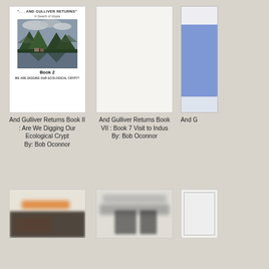[Figure (photo): Book cover for 'And Gulliver Returns Book II: Are We Digging Our Ecological Crypt' by Bob Oconnor. White cover with mountain lake landscape photo, titled Book 2.]
And Gulliver Returns Book II : Are We Digging Our Ecological Crypt
By: Bob Oconnor
[Figure (photo): Book cover for 'And Gulliver Returns Book VII: Book 7 Visit to Indus' by Bob Oconnor. Mostly blank/white cover.]
And Gulliver Returns Book VII : Book 7 Visit to Indus
By: Bob Oconnor
[Figure (photo): Partially visible book cover on the right edge, showing blue cover fragment.]
And G
[Figure (photo): Partially visible book cover at bottom left, showing blurred orange and dark imagery.]
[Figure (photo): Partially visible book cover at bottom center, showing blurred text and imagery.]
[Figure (photo): Partially visible book cover at bottom right edge.]